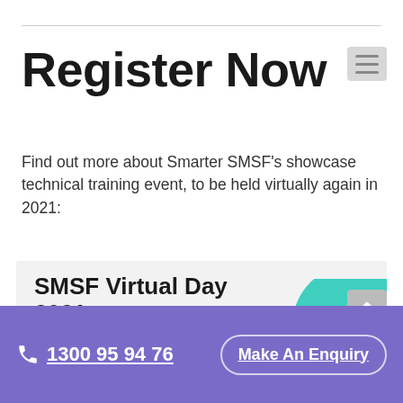Register Now
Find out more about Smarter SMSF's showcase technical training event, to be held virtually again in 2021:
[Figure (illustration): SMSF Virtual Day 2021 event banner with teal circle graphic containing green hills and sprout illustrations. Bottom bar shows date '30 & 31 March 2021' and hashtag '#SVD21' on teal/green background.]
1300 95 94 76   Make An Enquiry